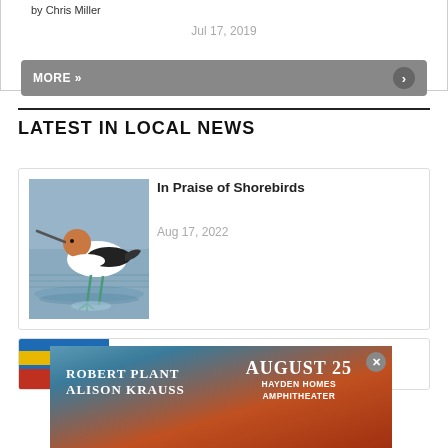by Chris Miller
Jul 17, 2019
MORE »
LATEST IN LOCAL NEWS
In Praise of Shorebirds
Aug 17, 2022
[Figure (photo): A shorebird (American Avocet) wading in shallow water with blurred background]
BBC at the Pump
[Figure (photo): Advertisement for Robert Plant & Alison Krauss concert on August 25 at Hayden Homes Amphitheater]
ROBERT PLANT
ALISON KRAUSS
AUGUST 25
HAYDEN HOMES
AMPHITHEATER